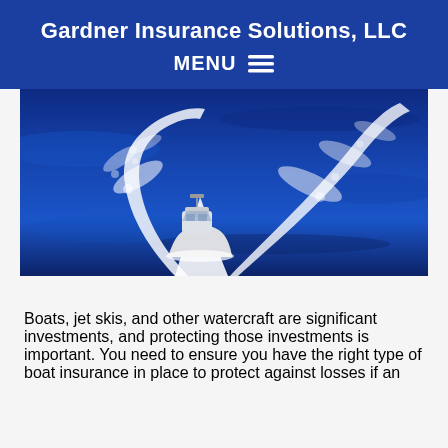Gardner Insurance Solutions, LLC
MENU ☰
[Figure (photo): A white motorboat speeding across deep blue ocean water, creating large white wake and spray patterns behind it, aerial view.]
Boats, jet skis, and other watercraft are significant investments, and protecting those investments is important. You need to ensure you have the right type of boat insurance in place to protect against losses if an